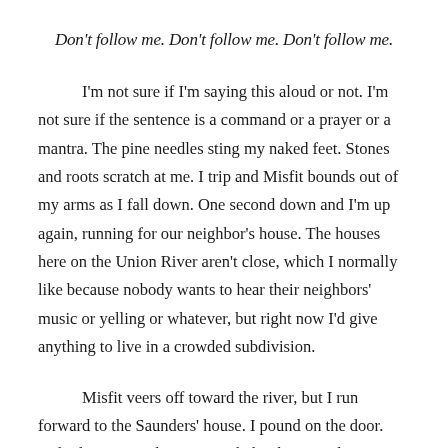Don't follow me. Don't follow me. Don't follow me.
I'm not sure if I'm saying this aloud or not. I'm not sure if the sentence is a command or a prayer or a mantra. The pine needles sting my naked feet. Stones and roots scratch at me. I trip and Misfit bounds out of my arms as I fall down. One second down and I'm up again, running for our neighbor's house. The houses here on the Union River aren't close, which I normally like because nobody wants to hear their neighbors' music or yelling or whatever, but right now I'd give anything to live in a crowded subdivision.
Misfit veers off toward the river, but I run forward to the Saunders' house. I pound on the door. Nobody comes. There's noise behind me. And I see them—him—her—whatever—the person running through the woods toward me.